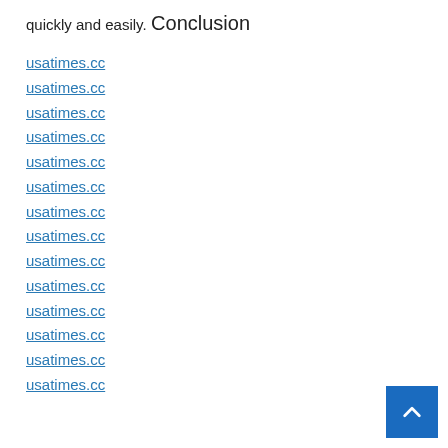quickly and easily.
Conclusion
usatimes.cc
usatimes.cc
usatimes.cc
usatimes.cc
usatimes.cc
usatimes.cc
usatimes.cc
usatimes.cc
usatimes.cc
usatimes.cc
usatimes.cc
usatimes.cc
usatimes.cc
usatimes.cc